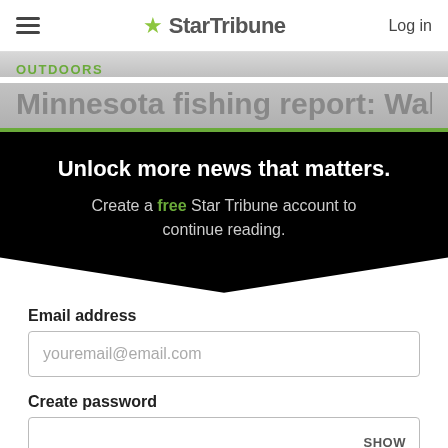StarTribune — Log in
OUTDOORS
Minnesota fishing report: Walleye
Unlock more news that matters. Create a free Star Tribune account to continue reading.
Email address
youremail@email.com
Create password
SHOW
Create an account
By continuing you agree to the Terms of Service and